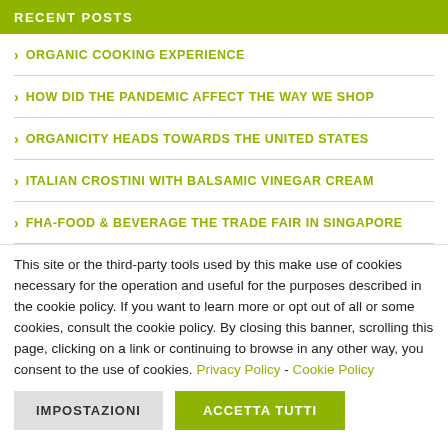RECENT POSTS
ORGANIC COOKING EXPERIENCE
HOW DID THE PANDEMIC AFFECT THE WAY WE SHOP
ORGANICITY HEADS TOWARDS THE UNITED STATES
ITALIAN CROSTINI WITH BALSAMIC VINEGAR CREAM
FHA-FOOD & BEVERAGE THE TRADE FAIR IN SINGAPORE
This site or the third-party tools used by this make use of cookies necessary for the operation and useful for the purposes described in the cookie policy. If you want to learn more or opt out of all or some cookies, consult the cookie policy. By closing this banner, scrolling this page, clicking on a link or continuing to browse in any other way, you consent to the use of cookies. Privacy Policy - Cookie Policy
IMPOSTAZIONI | ACCETTA TUTTI